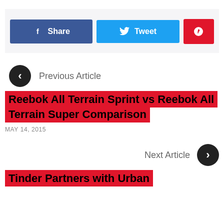[Figure (other): Social share buttons: Facebook Share (blue), Tweet (light blue), Pinterest (red)]
Previous Article
Reebok All Terrain Sprint vs Reebok All Terrain Super Comparison
MAY 14, 2015
Next Article
Tinder Partners with Urban